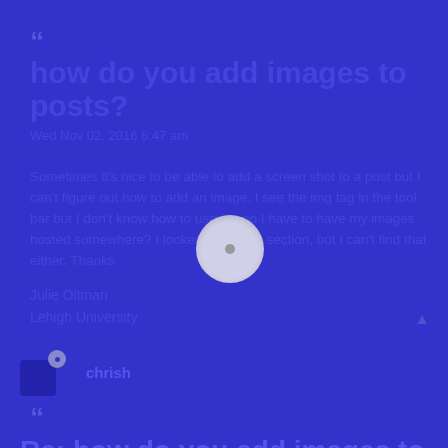““
how do you add images to posts?
Wed Nov 02, 2016 6:47 am
Sometimes it's nice to be able to add a screen shot to a post but I can't figure out how to add an image. I see the img tag in the tool bar but I don't know how to use it... do I have to have my images hosted somewhere? I looked for a help section, but I can't find that either. Thanks
Julie Oltman
Lehigh University
chrish
““
Re: how do you add images to posts?